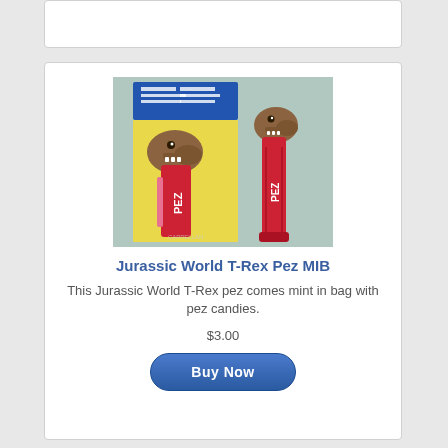[Figure (photo): A Jurassic World T-Rex Pez dispenser product shown both in its packaging (on card/bag with blue header and red stem) and out of packaging, with a brown T-Rex head on a red dispenser stem.]
Jurassic World T-Rex Pez MIB
This Jurassic World T-Rex pez comes mint in bag with pez candies.
$3.00